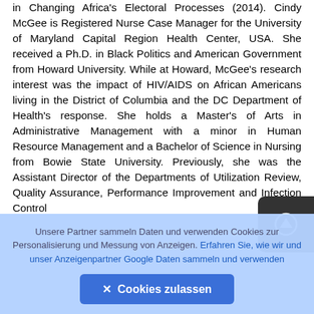in Changing Africa's Electoral Processes (2014). Cindy McGee is Registered Nurse Case Manager for the University of Maryland Capital Region Health Center, USA. She received a Ph.D. in Black Politics and American Government from Howard University. While at Howard, McGee's research interest was the impact of HIV/AIDS on African Americans living in the District of Columbia and the DC Department of Health's response. She holds a Master's of Arts in Administrative Management with a minor in Human Resource Management and a Bachelor of Science in Nursing from Bowie State University. Previously, she was the Assistant Director of the Departments of Utilization Review, Quality Assurance, Performance Improvement and Infection Control
Unsere Partner sammeln Daten und verwenden Cookies zur Personalisierung und Messung von Anzeigen. Erfahren Sie, wie wir und unser Anzeigenpartner Google Daten sammeln und verwenden